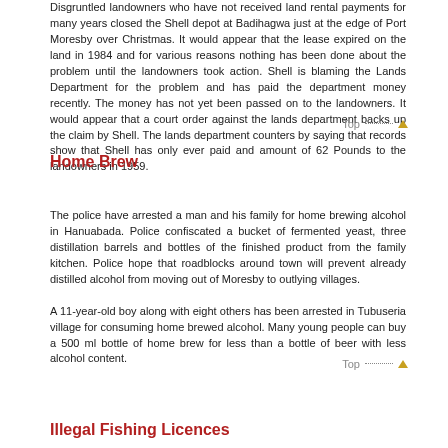Disgruntled landowners who have not received land rental payments for many years closed the Shell depot at Badihagwa just at the edge of Port Moresby over Christmas. It would appear that the lease expired on the land in 1984 and for various reasons nothing has been done about the problem until the landowners took action. Shell is blaming the Lands Department for the problem and has paid the department money recently. The money has not yet been passed on to the landowners. It would appear that a court order against the lands department backs up the claim by Shell. The lands department counters by saying that records show that Shell has only ever paid and amount of 62 Pounds to the landowners in 1959.
Home Brew
The police have arrested a man and his family for home brewing alcohol in Hanuabada. Police confiscated a bucket of fermented yeast, three distillation barrels and bottles of the finished product from the family kitchen. Police hope that roadblocks around town will prevent already distilled alcohol from moving out of Moresby to outlying villages.

A 11-year-old boy along with eight others has been arrested in Tubuseria village for consuming home brewed alcohol. Many young people can buy a 500 ml bottle of home brew for less than a bottle of beer with less alcohol content.
Illegal Fishing Licences